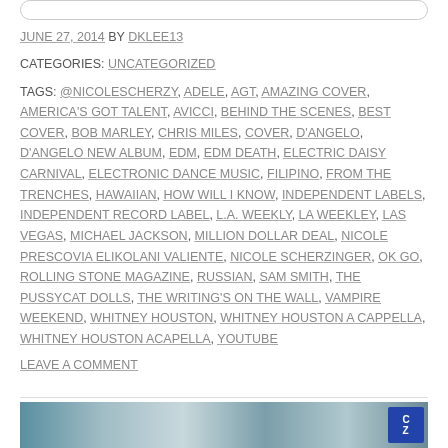JUNE 27, 2014 BY DKLEE13
CATEGORIES: UNCATEGORIZED
TAGS: @NICOLESCHERZY, ADELE, AGT, AMAZING COVER, AMERICA'S GOT TALENT, AVICCI, BEHIND THE SCENES, BEST COVER, BOB MARLEY, CHRIS MILES, COVER, D'ANGELO, D'ANGELO NEW ALBUM, EDM, EDM DEATH, ELECTRIC DAISY CARNIVAL, ELECTRONIC DANCE MUSIC, FILIPINO, FROM THE TRENCHES, HAWAIIAN, HOW WILL I KNOW, INDEPENDENT LABELS, INDEPENDENT RECORD LABEL, L.A. WEEKLY, LA WEEKLEY, LAS VEGAS, MICHAEL JACKSON, MILLION DOLLAR DEAL, NICOLE PRESCOVIA ELIKOLANI VALIENTE, NICOLE SCHERZINGER, OK GO, ROLLING STONE MAGAZINE, RUSSIAN, SAM SMITH, THE PUSSYCAT DOLLS, THE WRITING'S ON THE WALL, VAMPIRE WEEKEND, WHITNEY HOUSTON, WHITNEY HOUSTON A CAPPELLA, WHITNEY HOUSTON ACAPELLA, YOUTUBE
LEAVE A COMMENT
[Figure (photo): Bottom image strip showing a person, partially visible, with a blue badge/logo on the right side]